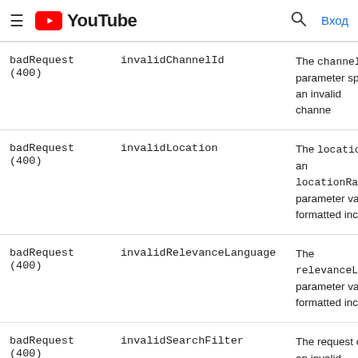YouTube
| Error type | Error detail | Description |
| --- | --- | --- |
| badRequest (400) | invalidChannelId | The channelId parameter specif an invalid channe |
| badRequest (400) | invalidLocation | The location an locationRadiu parameter value formatted incorr |
| badRequest (400) | invalidRelevanceLanguage | The relevanceLang parameter value formatted incorr |
| badRequest (400) | invalidSearchFilter | The request cont an invalid combination of search filters anc restrictions. Note you must set the |